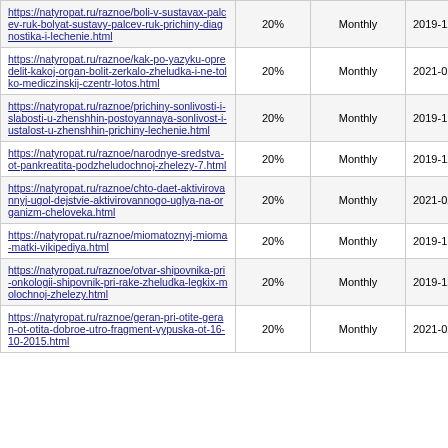| https://natyropat.ru/raznoe/boli-v-sustavax-palcev-ruk-bolyat-sustavy-palcev-ruk-prichiny-diagnostika-i-lechenie.html | 20% | Monthly | 2019-12-11 13:52 |
| https://natyropat.ru/raznoe/kak-po-yazyku-opredelit-kakoj-organ-bolit-zerkalo-zheludka-i-ne-tolko-mediсzinskij-сzentr-lotos.html | 20% | Monthly | 2021-02-06 15:20 |
| https://natyropat.ru/raznoe/prichiny-sonlivosti-i-slabosti-u-zhenshhin-postoyannaya-sonlivost-i-ustalost-u-zhenshhin-prichiny-lechenie.html | 20% | Monthly | 2019-11-20 17:41 |
| https://natyropat.ru/raznoe/narodnye-sredstva-ot-pankreatita-podzheludochnoj-zhelezy-7.html | 20% | Monthly | 2019-12-11 13:51 |
| https://natyropat.ru/raznoe/chto-daet-aktivirovannyj-ugol-dejstvie-aktivirovannogo-uglya-na-organizm-cheloveka.html | 20% | Monthly | 2021-02-06 15:02 |
| https://natyropat.ru/raznoe/miomatoznyj-mioma-matki-vikipediya.html | 20% | Monthly | 2019-11-20 17:41 |
| https://natyropat.ru/raznoe/otvar-shipovnika-pri-onkologii-shipovnik-pri-rake-zheludka-legkix-molochnoj-zhelezy.html | 20% | Monthly | 2019-12-11 13:50 |
| https://natyropat.ru/raznoe/geran-pri-otite-geran-ot-otita-dobroe-utro-fragment-vypuska-ot-16-10-2015.html | 20% | Monthly | 2021-02-06 14:44 |